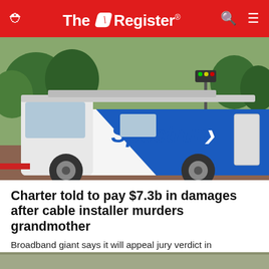The Register
[Figure (photo): A white Spectrum-branded cable service van with blue diagonal stripe and Spectrum logo, parked on a street with trees and traffic lights in the background.]
Charter told to pay $7.3b in damages after cable installer murders grandmother
Broadband giant says it will appeal jury verdict in negligence case
CYBER-CRIME	29 days | 83 💬